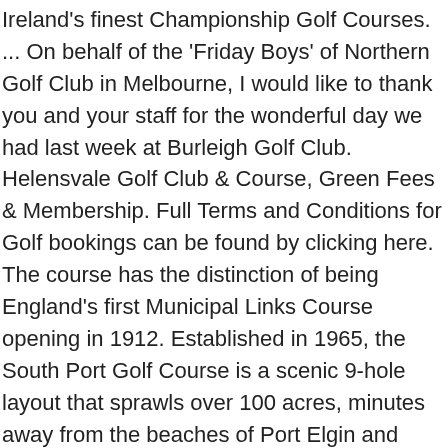Ireland's finest Championship Golf Courses. ... On behalf of the 'Friday Boys' of Northern Golf Club in Melbourne, I would like to thank you and your staff for the wonderful day we had last week at Burleigh Golf Club. Helensvale Golf Club & Course, Green Fees & Membership. Full Terms and Conditions for Golf bookings can be found by clicking here. The course has the distinction of being England's first Municipal Links Course opening in 1912. Established in 1965, the South Port Golf Course is a scenic 9-hole layout that sprawls over 100 acres, minutes away from the beaches of Port Elgin and Southampton. While short enough for senior players, it is also narrow and challenging for players with a lower handicap. Book green fees & tee times in REAL TIME at Southport Old Links Golf Club 9 Hole. The club's experienced staff is always